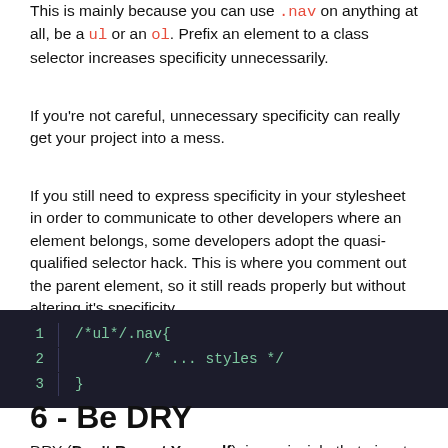This is mainly because you can use .nav on anything at all, be a ul or an ol. Prefix an element to a class selector increases specificity unnecessarily.
If you're not careful, unnecessary specificity can really get your project into a mess.
If you still need to express specificity in your stylesheet in order to communicate to other developers where an element belongs, some developers adopt the quasi-qualified selector hack. This is where you comment out the parent element, so it still reads properly but without altering it's specificity.
[Figure (screenshot): Code block on dark background showing CSS quasi-qualified selector: /*ul*/.nav{ /* ... styles */ }]
6 - Be DRY
DRY (Don't Repeat Yourself), is a principle that aims to